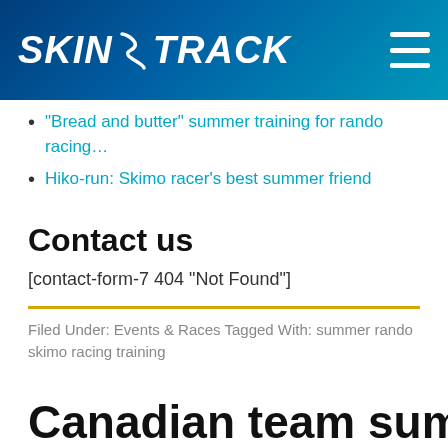[Figure (logo): SkinTrack logo on blue gradient header background with hamburger menu icon]
“Bread and butter” summer training for rando racing…
Hiko-run: Skimo racer’s best summer friend
Contact us
[contact-form-7 404 "Not Found"]
Filed Under: Events & Races Tagged With: summer rando skimo racing training
Canadian team summer